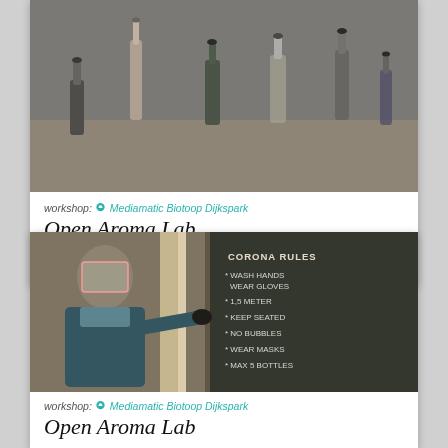[Figure (photo): Photo of small dropper bottles and laboratory vials on a table, used for aroma/perfume workshop]
workshop: Mediamatic Biotoop Dijkspark
Open Aroma Lab
31 Mar 2022
[Figure (photo): Photo of a person wearing a face shield and glove pointing at a blackboard that reads CORONA RULES: WASH HANDS WEAR GLOVES, 1,5 METER, KEEP SEATED, NO BUBBLES, WEAR MASKS, MAX 5 BOTTLES]
workshop: Mediamatic Biotoop Dijkspark
Open Aroma Lab